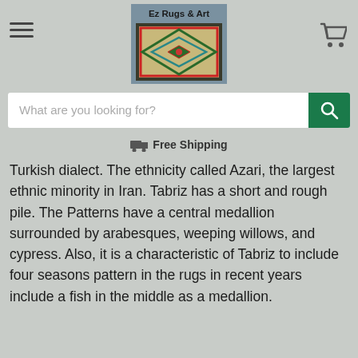[Figure (logo): Ez Rugs & Art logo with a decorative rug diamond pattern on a blue-grey background]
What are you looking for?
🚚 Free Shipping
Turkish dialect. The ethnicity called Azari, the largest ethnic minority in Iran. Tabriz has a short and rough pile. The Patterns have a central medallion surrounded by arabesques, weeping willows, and cypress. Also, it is a characteristic of Tabriz to include four seasons pattern in the rugs in recent years include a fish in the middle as a medallion.